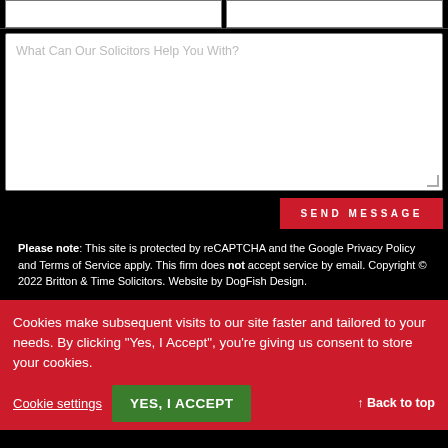[Figure (screenshot): Two side-by-side white form input fields at top of page]
What Can Our Solicitors Help You With?
[Figure (screenshot): Red SEND MESSAGE button]
Please note: This site is protected by reCAPTCHA and the Google Privacy Policy and Terms of Service apply. This firm does not accept service by email. Copyright © 2022 Britton & Time Solicitors. Website by DogFish Design.
Cookies make subsequent visits to our site faster and tailored to your needs. By clicking "Yes, I Accept", you're giving us consent to store your cookies.
Cookie settings
YES, I ACCEPT
↑ Back to top